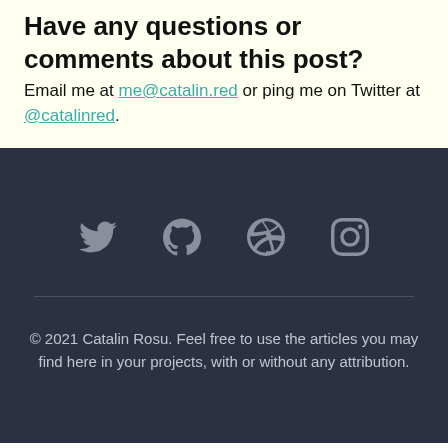Have any questions or comments about this post?
Email me at me@catalin.red or ping me on Twitter at @catalinred.
[Figure (illustration): Four social media icons in a row on dark background: Twitter bird, GitHub octocat, Dribbble ball, Instagram camera]
© 2021 Catalin Rosu. Feel free to use the articles you may find here in your projects, with or without any attribution.